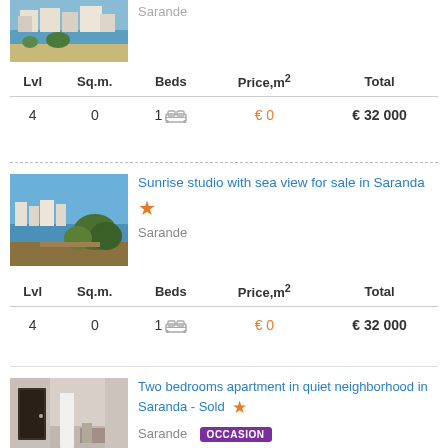[Figure (photo): Partial top of listing: aerial/coastal view of Saranda, cropped at top]
Sarande
| Lvl | Sq.m. | Beds | Price,m² | Total |
| --- | --- | --- | --- | --- |
| 4 | 0 | 1 | € 0 | € 32 000 |
[Figure (photo): Sunrise studio with sea view – aerial photo of Saranda coastline with sea and trees]
Sunrise studio with sea view for sale in Saranda
Sarande
| Lvl | Sq.m. | Beds | Price,m² | Total |
| --- | --- | --- | --- | --- |
| 4 | 0 | 1 | € 0 | € 32 000 |
[Figure (photo): Two bedrooms apartment interior photo – empty room with door]
Two bedrooms apartment in quiet neighborhood in Saranda - Sold
Sarande  OCCASION